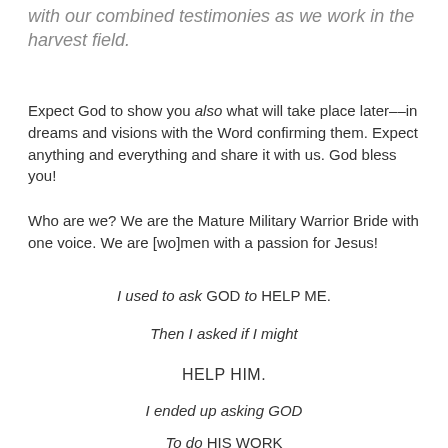with our combined testimonies as we work in the harvest field.
Expect God to show you also what will take place later––in dreams and visions with the Word confirming them. Expect anything and everything and share it with us. God bless you!
Who are we? We are the Mature Military Warrior Bride with one voice. We are [wo]men with a passion for Jesus!
I used to ask GOD to HELP ME.
Then I asked if I might
HELP HIM.
I ended up asking GOD
To do HIS WORK